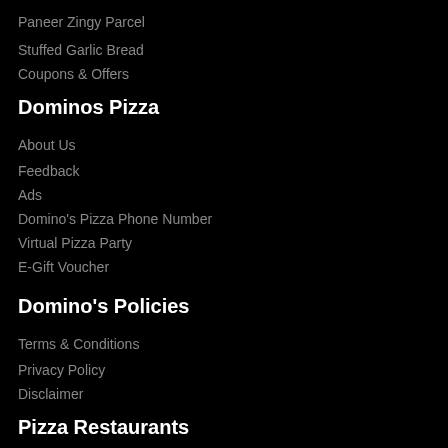Paneer Zingy Parcel
Stuffed Garlic Bread
Coupons & Offers
Dominos Pizza
About Us
Feedback
Ads
Domino's Pizza Phone Number
Virtual Pizza Party
E-Gift Voucher
Domino's Policies
Terms & Conditions
Privacy Policy
Disclaimer
Pizza Restaurants
Restaurants Near Me